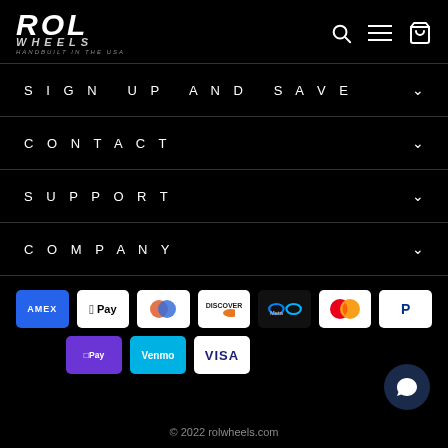[Figure (logo): ROL Wheels logo — stylized italic ROL text with WHEELS below and HANDBUILT IN THE USA tagline]
SIGN UP AND SAVE
CONTACT
SUPPORT
COMPANY
[Figure (infographic): Payment method icons: American Express, Apple Pay, Diners Club, Discover, Meta Pay, Mastercard, PayPal, Shop Pay, Venmo, Visa]
© 2022 rolwheels.com